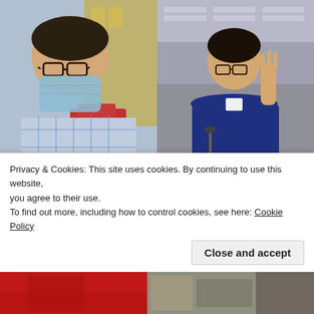[Figure (photo): Two-photo collage: left photo shows a man wearing a blue surgical mask and plaid shirt in an outdoor street setting with Chinese text signs; right photo shows a man in a dark blue sweater raising his hand in what appears to be a legislative chamber. HKFP Hong Kong Free Press logo in lower right corner.]
Hong Kong court adjourns discussion of national security case against two of 47 democrats
[Figure (photo): Partial view of a second news article image showing a building exterior with pipes/ducts and a person visible on the right side.]
Privacy & Cookies: This site uses cookies. By continuing to use this website, you agree to their use.
To find out more, including how to control cookies, see here: Cookie Policy
Close and accept
[Figure (photo): Bottom strip showing partial images: red/dark area on the left and grey/brown tones on the right, partially obscured by cookie banner.]